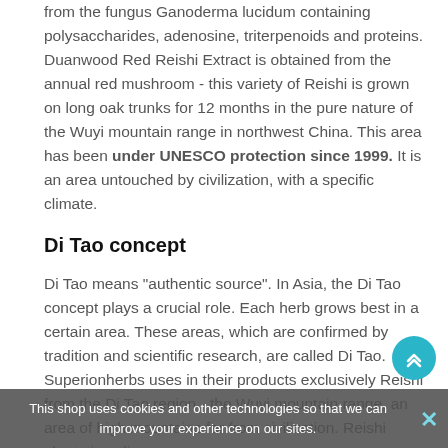from the fungus Ganoderma lucidum containing polysaccharides, adenosine, triterpenoids and proteins. Duanwood Red Reishi Extract is obtained from the annual red mushroom - this variety of Reishi is grown on long oak trunks for 12 months in the pure nature of the Wuyi mountain range in northwest China. This area has been under UNESCO protection since 1999. It is an area untouched by civilization, with a specific climate.
Di Tao concept
Di Tao means "authentic source". In Asia, the Di Tao concept plays a crucial role. Each herb grows best in a certain area. These areas, which are confirmed by tradition and scientific research, are called Di Tao. Superionherbs uses in their products exclusively Reishi from the Di Tao region - the Wuyi mountain range, an area of high mountains far from civilization. Reishi plantations li...
This shop uses cookies and other technologies so that we can improve your experience on our sites.